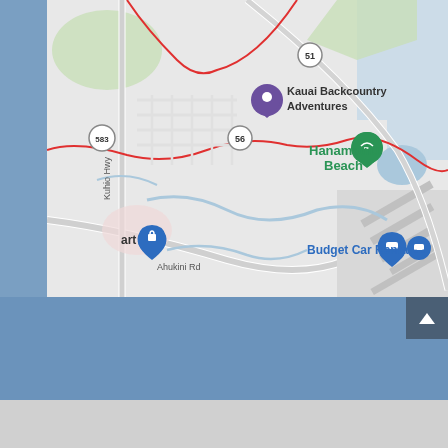[Figure (map): Google Maps screenshot showing an area around Hanamaulu Beach, Kauai, Hawaii. Visible landmarks include Kauai Backcountry Adventures (marked with a location pin), Hanamaulu Beach (with a green beach marker), Budget Car Rental (with a blue location pin), and a Walmart/mart store icon. Road labels visible include Kuhio Hwy, Ahukini Rd, and route markers 51, 56, and 583. The map shows gray roads, blue water channels, green vegetation areas, and an airport/airstrip in the lower right.]